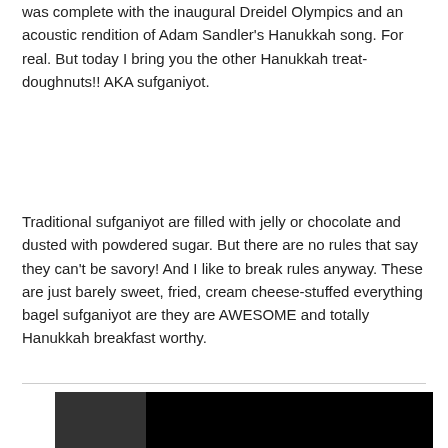was complete with the inaugural Dreidel Olympics and an acoustic rendition of Adam Sandler's Hanukkah song. For real. But today I bring you the other Hanukkah treat- doughnuts!! AKA sufganiyot.
Traditional sufganiyot are filled with jelly or chocolate and dusted with powdered sugar. But there are no rules that say they can't be savory! And I like to break rules anyway. These are just barely sweet, fried, cream cheese-stuffed everything bagel sufganiyot are they are AWESOME and totally Hanukkah breakfast worthy.
[Figure (screenshot): Video player showing a dark/black screen with a white play button arrow, and text 'The video cannot be' at the bottom. An advertisement banner at the bottom reads 'Get Up To $110 On a Set of 4 Select Firestone Tires' with a green tire logo and blue arrow button.]